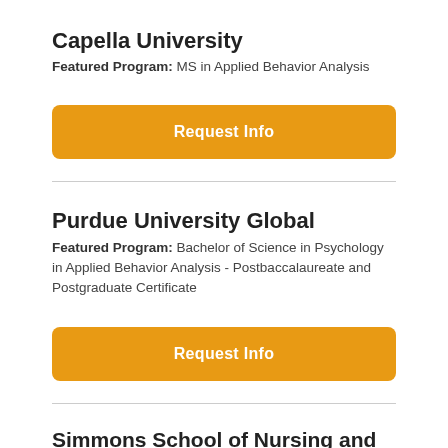Capella University
Featured Program: MS in Applied Behavior Analysis
[Figure (other): Orange 'Request Info' button for Capella University]
Purdue University Global
Featured Program: Bachelor of Science in Psychology in Applied Behavior Analysis - Postbaccalaureate and Postgraduate Certificate
[Figure (other): Orange 'Request Info' button for Purdue University Global]
Simmons School of Nursing and Health